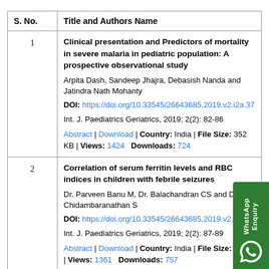| S. No. | Title and Authors Name |
| --- | --- |
| 1 | Clinical presentation and Predictors of mortality in severe malaria in pediatric population: A prospective observational study
Arpita Dash, Sandeep Jhajra, Debasish Nanda and Jatindra Nath Mohanty
DOI: https://doi.org/10.33545/26643685.2019.v2.i2a.37
Int. J. Paediatrics Geriatrics, 2019; 2(2): 82-86
Abstract | Download | Country: India | File Size: 352 KB | Views: 1424  Downloads: 724 |
| 2 | Correlation of serum ferritin levels and RBC indices in children with febrile seizures
Dr. Parveen Banu M, Dr. Balachandran CS and Dr. Chidambaranathan S
DOI: https://doi.org/10.33545/26643685.2019.v2.i2b.3
Int. J. Paediatrics Geriatrics, 2019; 2(2): 87-89
Abstract | Download | Country: India | File Size: 32 KB | Views: 1361  Downloads: 757 |